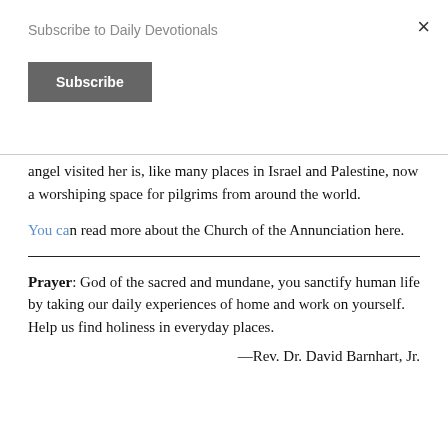Subscribe to Daily Devotionals
Subscribe
×
angel visited her is, like many places in Israel and Palestine, now a worshiping space for pilgrims from around the world.
You can read more about the Church of the Annunciation here.
Prayer: God of the sacred and mundane, you sanctify human life by taking our daily experiences of home and work on yourself. Help us find holiness in everyday places.
—Rev. Dr. David Barnhart, Jr.